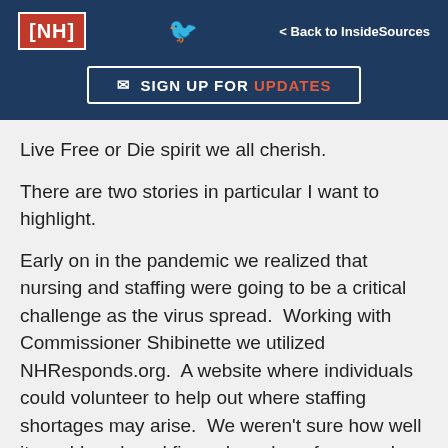[NH] | Twitter | < Back to InsideSources
[Figure (screenshot): SIGN UP FOR UPDATES button with envelope icon on dark blue background]
Live Free or Die spirit we all cherish.
There are two stories in particular I want to highlight.
Early on in the pandemic we realized that nursing and staffing were going to be a critical challenge as the virus spread. Working with Commissioner Shibinette we utilized NHResponds.org. A website where individuals could volunteer to help out where staffing shortages may arise. We weren't sure how well it would work and figured maybe a few people might be willing to step up and help out a few hours a week. Within a couple weeks literally hundreds of individuals had